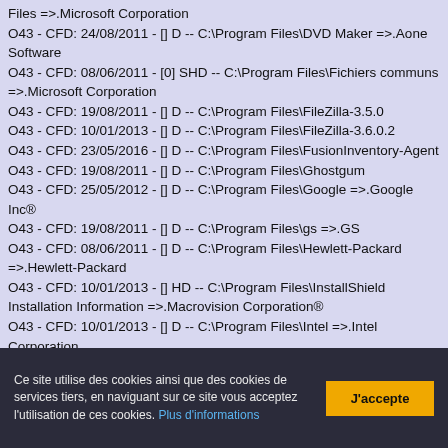Files =>.Microsoft Corporation
O43 - CFD: 24/08/2011 - [] D -- C:\Program Files\DVD Maker =>.Aone Software
O43 - CFD: 08/06/2011 - [0] SHD -- C:\Program Files\Fichiers communs =>.Microsoft Corporation
O43 - CFD: 19/08/2011 - [] D -- C:\Program Files\FileZilla-3.5.0
O43 - CFD: 10/01/2013 - [] D -- C:\Program Files\FileZilla-3.6.0.2
O43 - CFD: 23/05/2016 - [] D -- C:\Program Files\FusionInventory-Agent
O43 - CFD: 19/08/2011 - [] D -- C:\Program Files\Ghostgum
O43 - CFD: 25/05/2012 - [] D -- C:\Program Files\Google =>.Google Inc®
O43 - CFD: 19/08/2011 - [] D -- C:\Program Files\gs =>.GS
O43 - CFD: 08/06/2011 - [] D -- C:\Program Files\Hewlett-Packard =>.Hewlett-Packard
O43 - CFD: 10/01/2013 - [] HD -- C:\Program Files\InstallShield Installation Information =>.Macrovision Corporation®
O43 - CFD: 10/01/2013 - [] D -- C:\Program Files\Intel =>.Intel Corporation
Ce site utilise des cookies ainsi que des cookies de services tiers, en naviguant sur ce site vous acceptez l'utilisation de ces cookies. Plus d'informations